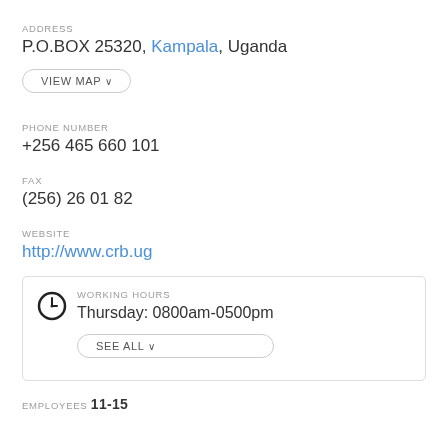ADDRESS
P.O.BOX 25320, Kampala, Uganda
VIEW MAP
PHONE NUMBER
+256 465 660 101
FAX
(256) 26 01 82
WEBSITE
http://www.crb.ug
WORKING HOURS
Thursday: 0800am-0500pm
SEE ALL
EMPLOYEES 11-15